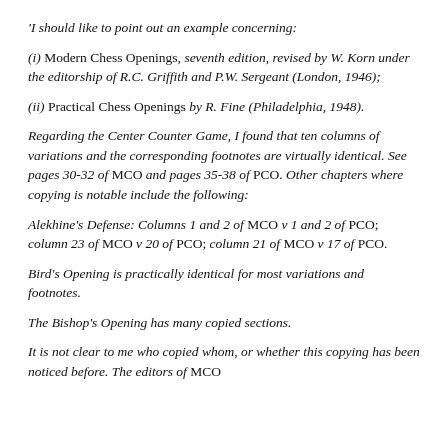'I should like to point out an example concerning:
(i) Modern Chess Openings, seventh edition, revised by W. Korn under the editorship of R.C. Griffith and P.W. Sergeant (London, 1946);
(ii) Practical Chess Openings by R. Fine (Philadelphia, 1948).
Regarding the Center Counter Game, I found that ten columns of variations and the corresponding footnotes are virtually identical. See pages 30-32 of MCO and pages 35-38 of PCO. Other chapters where copying is notable include the following:
Alekhine's Defense: Columns 1 and 2 of MCO v 1 and 2 of PCO; column 23 of MCO v 20 of PCO; column 21 of MCO v 17 of PCO.
Bird's Opening is practically identical for most variations and footnotes.
The Bishop's Opening has many copied sections.
It is not clear to me who copied whom, or whether this copying has been noticed before. The editors of MCO